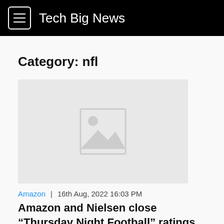Tech Big News
Category: nfl
[Figure (illustration): Placeholder image with grey background showing a generic image icon (mountain/landscape silhouette with sun)]
Amazon | 16th Aug, 2022 16:03 PM
Amazon and Nielsen close &#8220;Thursday Night Football" ratings